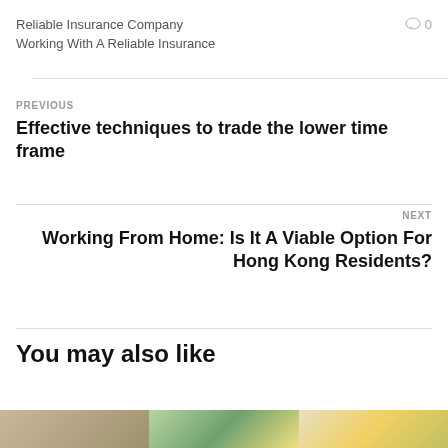Reliable Insurance Company
Working With A Reliable Insurance
PREVIOUS
Effective techniques to trade the lower time frame
NEXT
Working From Home: Is It A Viable Option For Hong Kong Residents?
You may also like
[Figure (photo): Thumbnail images for related articles]